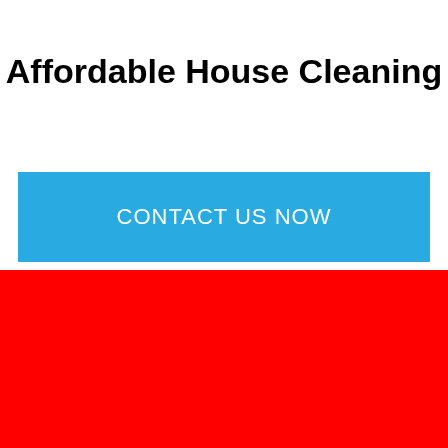Affordable House Cleaning
CONTACT US NOW
[Figure (other): Solid red background block filling the bottom portion of the page]